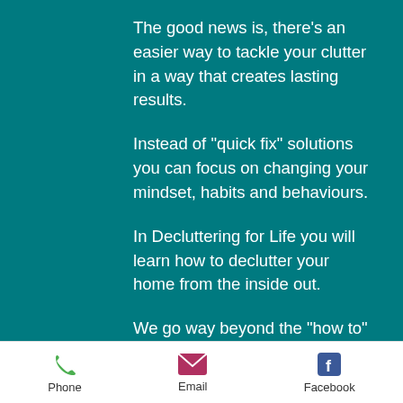The good news is, there's an easier way to tackle your clutter in a way that creates lasting results.
Instead of "quick fix" solutions you can focus on changing your mindset, habits and behaviours.
In Decluttering for Life you will learn how to declutter your home from the inside out.
We go way beyond the "how to" and
Phone  Email  Facebook